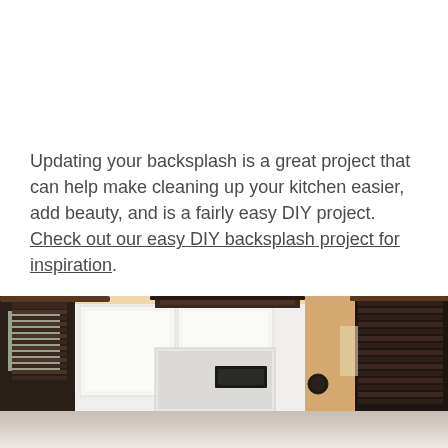Updating your backsplash is a great project that can help make cleaning up your kitchen easier, add beauty, and is a fairly easy DIY project. Check out our easy DIY backsplash project for inspiration. This tile backsplash is a great addition to the kitchen:
[Figure (photo): A kitchen interior photograph showing white upper cabinets, a white microwave, dark curtain valances/blinds on the left, and warm beige walls. The image is partially cropped showing the upper portion of the kitchen.]